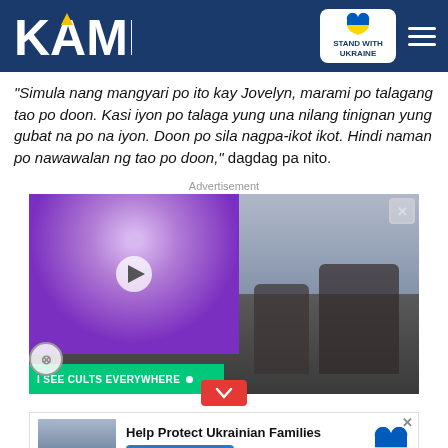KAMI — STAND WITH UKRAINE
"Simula nang mangyari po ito kay Jovelyn, marami po talagang tao po doon. Kasi iyon po talaga yung una nilang tinignan yung gubat na po na iyon. Doon po sila nagpa-ikot ikot. Hindi naman po nawawalan ng tao po doon," dagdag pa nito.
Advertisement
[Figure (photo): Advertisement with Ukraine support imagery, overlapping video ad with 'I SEE CULTS EVERYWHERE' banner, and a person carrying another person in a war-damaged area background.]
[Figure (photo): Bottom banner ad: Help Protect Ukrainian Families with DONATE NOW button and Ukrainian heart logo.]